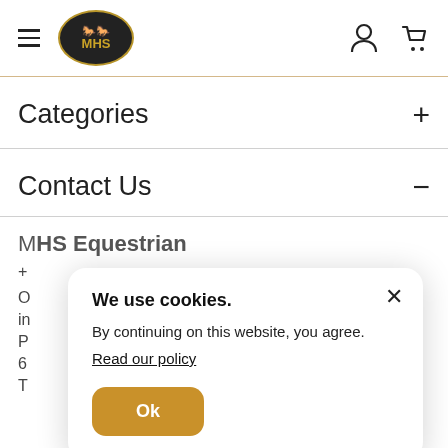[Figure (logo): MHS Equestrian logo — oval dark background with two horse silhouettes and gold MHS text, plus hamburger menu icon]
Categories +
Contact Us —
MHS Equestrian
We use cookies.
By continuing on this website, you agree.
Read our policy
Ok